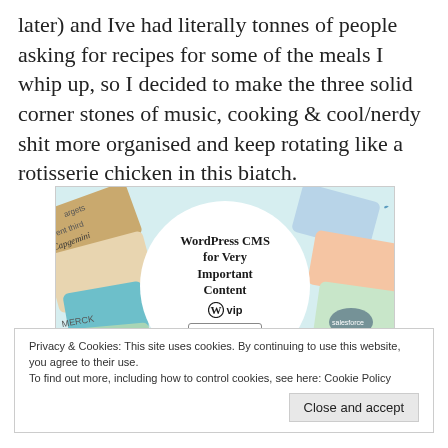later) and Ive had literally tonnes of people asking for recipes for some of the meals I whip up, so I decided to make the three solid corner stones of music, cooking & cool/nerdy shit more organised and keep rotating like a rotisserie chicken in this biatch.
[Figure (screenshot): WordPress CMS for Very Important Content - WP VIP advertisement with colorful card tiles in background and white circle center with logo and Learn more button]
Privacy & Cookies: This site uses cookies. By continuing to use this website, you agree to their use.
To find out more, including how to control cookies, see here: Cookie Policy
Close and accept